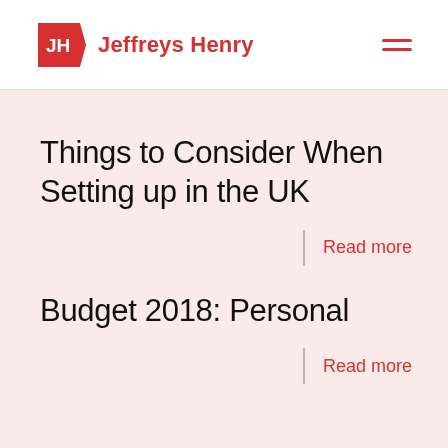[Figure (logo): Jeffreys Henry logo: red pentagon/flag shape with 'JH' text in white, followed by 'Jeffreys Henry' text in red]
Things to Consider When Setting up in the UK
Read more
Budget 2018: Personal
Read more